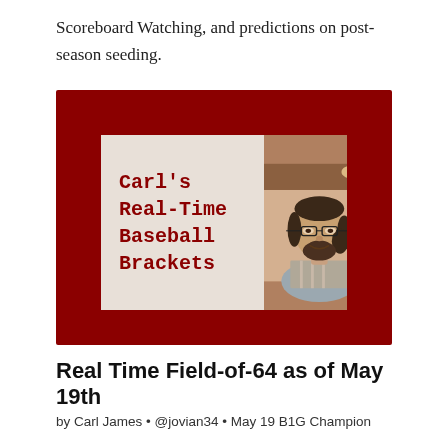Scoreboard Watching, and predictions on post-season seeding.
[Figure (illustration): Dark red banner image for 'Carl's Real-Time Baseball Brackets' showing a card with the title text in dark red monospace font on the left and a photo of a smiling man with glasses and a beard on the right.]
Real Time Field-of-64 as of May 19th
by Carl James • @jovian34 • May 19 B1G Champion